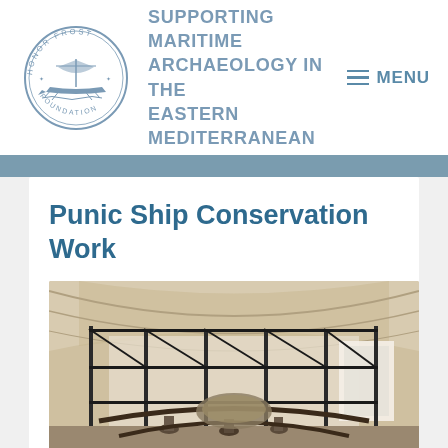Honor Frost Foundation — Supporting Maritime Archaeology in the Eastern Mediterranean | MENU
Punic Ship Conservation Work
[Figure (photo): Interior of a museum or conservation facility with stone arched ceiling and scaffolding surrounding a Punic ship under conservation work, workers visible below]